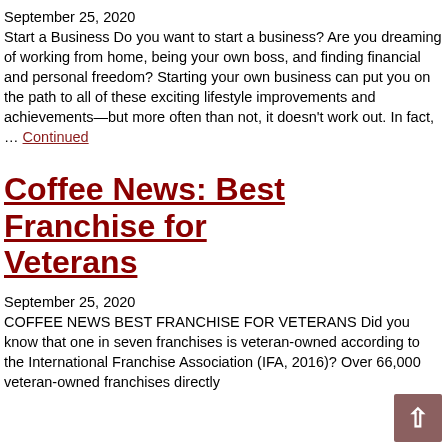September 25, 2020
Start a Business Do you want to start a business? Are you dreaming of working from home, being your own boss, and finding financial and personal freedom? Starting your own business can put you on the path to all of these exciting lifestyle improvements and achievements—but more often than not, it doesn't work out. In fact, ... Continued
Coffee News: Best Franchise for Veterans
September 25, 2020
COFFEE NEWS BEST FRANCHISE FOR VETERANS Did you know that one in seven franchises is veteran-owned according to the International Franchise Association (IFA, 2016)? Over 66,000 veteran-owned franchises directly